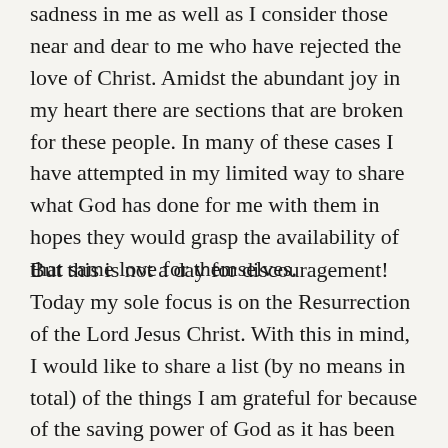sadness in me as well as I consider those near and dear to me who have rejected the love of Christ. Amidst the abundant joy in my heart there are sections that are broken for these people. In many of these cases I have attempted in my limited way to share what God has done for me with them in hopes they would grasp the availability of that same love for themselves.
But this is not a day for discouragement! Today my sole focus is on the Resurrection of the Lord Jesus Christ. With this in mind, I would like to share a list (by no means in total) of the things I am grateful for because of the saving power of God as it has been revealed through Christ's ultimate victory over